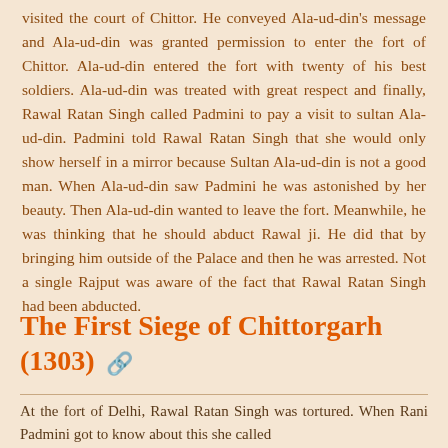visited the court of Chittor. He conveyed Ala-ud-din's message and Ala-ud-din was granted permission to enter the fort of Chittor. Ala-ud-din entered the fort with twenty of his best soldiers. Ala-ud-din was treated with great respect and finally, Rawal Ratan Singh called Padmini to pay a visit to sultan Ala-ud-din. Padmini told Rawal Ratan Singh that she would only show herself in a mirror because Sultan Ala-ud-din is not a good man. When Ala-ud-din saw Padmini he was astonished by her beauty. Then Ala-ud-din wanted to leave the fort. Meanwhile, he was thinking that he should abduct Rawal ji. He did that by bringing him outside of the Palace and then he was arrested. Not a single Rajput was aware of the fact that Rawal Ratan Singh had been abducted.
The First Siege of Chittorgarh (1303)
At the fort of Delhi, Rawal Ratan Singh was tortured. When Rani Padmini got to know about this she called